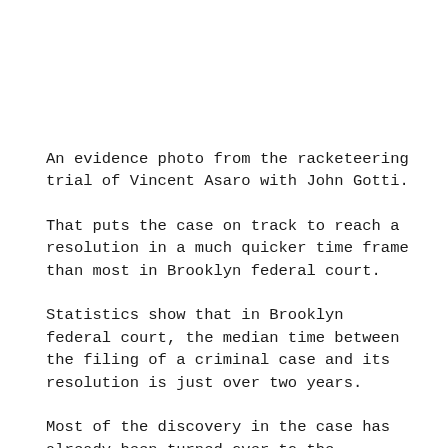An evidence photo from the racketeering trial of Vincent Asaro with John Gotti.
That puts the case on track to reach a resolution in a much quicker time frame than most in Brooklyn federal court.
Statistics show that in Brooklyn federal court, the median time between the filing of a criminal case and its resolution is just over two years.
Most of the discovery in the case has already been turned over to the defense, Assistant U.S. Attorney Nicole Argentieri said.